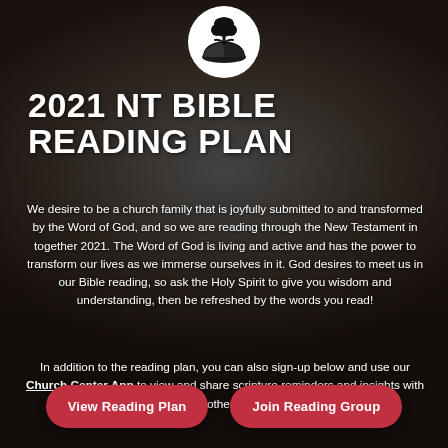[Figure (logo): Circular logo with a tree above an open book, white background]
2021 NT BIBLE READING PLAN
We desire to be a church family that is joyfully submitted to and transformed by the Word of God, and so we are reading through the New Testament in together 2021. The Word of God is living and active and has the power to transform our lives as we immerse ourselves in it. God desires to meet us in our Bible reading, so ask the Holy Spirit to give you wisdom and understanding, then be refreshed by the words you read!
In addition to the reading plan, you can also sign-up below and use our Church Center App to view and share scripture reminders and insights with others!
View Reading Plan
Join Reading Group